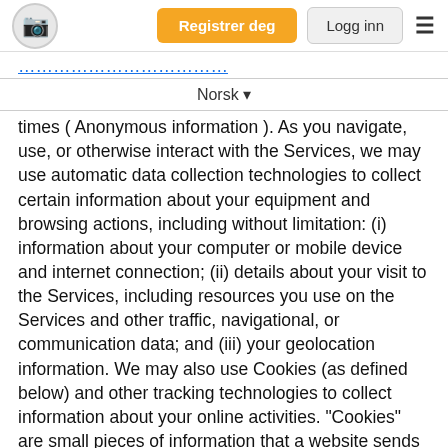Registrer deg | Logg inn
Norsk ▾
times ( Anonymous information ). As you navigate, use, or otherwise interact with the Services, we may use automatic data collection technologies to collect certain information about your equipment and browsing actions, including without limitation: (i) information about your computer or mobile device and internet connection; (ii) details about your visit to the Services, including resources you use on the Services and other traffic, navigational, or communication data; and (iii) your geolocation information. We may also use Cookies (as defined below) and other tracking technologies to collect information about your online activities. "Cookies" are small pieces of information that a website sends to your browser while you are viewing a website. You can instruct your browser, by changing its options, to stop